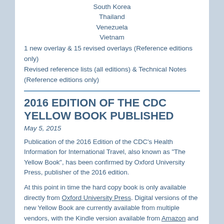South Korea
Thailand
Venezuela
Vietnam
1 new overlay & 15 revised overlays (Reference editions only)
Revised reference lists (all editions) & Technical Notes (Reference editions only)
2016 EDITION OF THE CDC YELLOW BOOK PUBLISHED
May 5, 2015
Publication of the 2016 Edition of the CDC's Health Information for International Travel, also known as "The Yellow Book", has been confirmed by Oxford University Press, publisher of the 2016 edition.
At this point in time the hard copy book is only available directly from Oxford University Press. Digital versions of the new Yellow Book are currently available from multiple vendors, with the Kindle version available from Amazon and eBook versions available from Barnes and Noble. The CDC website also states that digital versions of the 2016 edition will be available in the iTunes and GooglePlay app stores.
The Amazon and Barnes and Noble websites both